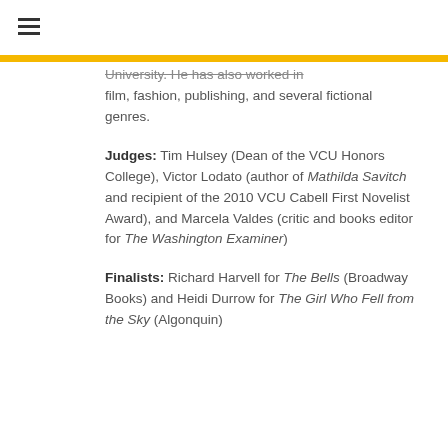University. He has also worked in film, fashion, publishing, and several fictional genres.
Judges: Tim Hulsey (Dean of the VCU Honors College), Victor Lodato (author of Mathilda Savitch and recipient of the 2010 VCU Cabell First Novelist Award), and Marcela Valdes (critic and books editor for The Washington Examiner)
Finalists: Richard Harvell for The Bells (Broadway Books) and Heidi Durrow for The Girl Who Fell from the Sky (Algonquin)